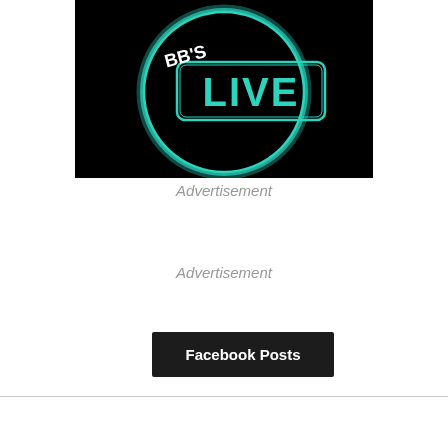[Figure (logo): BB's LIVE logo — neon teal circle with 'BB's' in white text and 'LIVE' in teal text inside a rounded rectangle, on a black background]
Advertisement
Advertisement
Facebook Posts